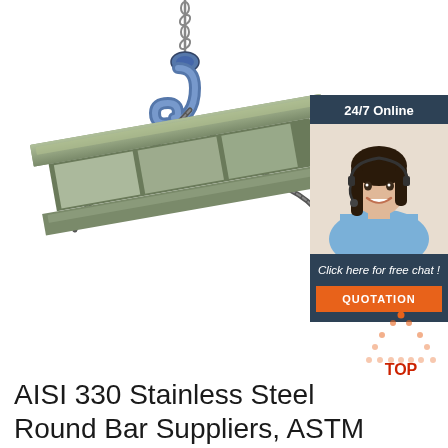[Figure (photo): Steel I-beam suspended by a crane hook with wire rope sling against white background]
[Figure (illustration): 24/7 online chat widget showing a female customer service representative with headset, dark blue background, with 'Click here for free chat!' text and orange QUOTATION button]
[Figure (other): Orange and red dotted triangle 'TOP' icon in bottom right area]
AISI 330 Stainless Steel Round Bar Suppliers, ASTM